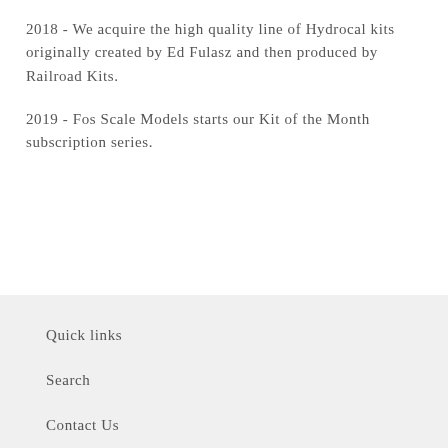2018 - We acquire the high quality line of Hydrocal kits originally created by Ed Fulasz and then produced by Railroad Kits.
2019 - Fos Scale Models starts our Kit of the Month subscription series.
Quick links
Search
Contact Us